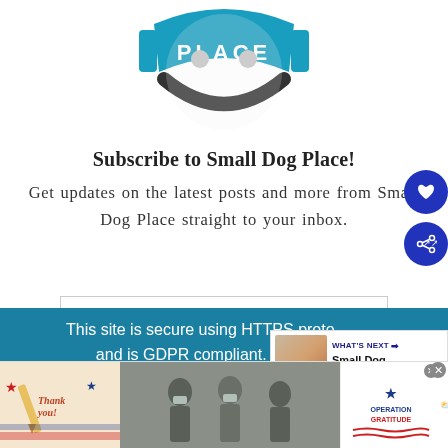[Figure (logo): Small Dog Place logo — circular badge with teal/blue banner reading 'PLACE', stylized dog face graphic, dark curved smile shape]
Subscribe to Small Dog Place!
Get updates on the latest posts and more from Small Dog Place straight to your inbox.
[Figure (screenshot): Email subscription input box (partially visible)]
This site is secure using HTTPS protocol and is GDPR compliant. It also uses cookies, some of which are required for its operation. Please agree to this before you continue using this site. Learn more...
[Figure (infographic): WHAT'S NEXT arrow label with thumbnail image and text: Small Dog Lifestyle:....]
[Figure (photo): Advertisement banner: Thank you! Operation Gratitude — showing military personnel and patriotic imagery with close button]